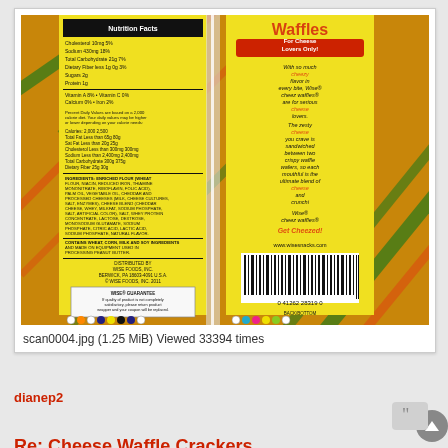[Figure (photo): Scanned image of the back of a Wise Cheez Waffles snack package, showing nutrition facts, ingredients, barcode, and product description text on a gold/copper metallic background with green and orange diagonal patterns.]
scan0004.jpg (1.25 MiB) Viewed 33394 times
dianep2
Re: Cheese Waffle Crackers